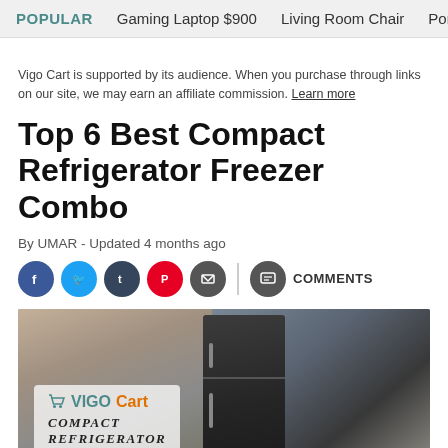POPULAR   Gaming Laptop $900   Living Room Chair   Portable
Vigo Cart is supported by its audience. When you purchase through links on our site, we may earn an affiliate commission. Learn more
Top 6 Best Compact Refrigerator Freezer Combo
By UMAR - Updated 4 months ago
[Figure (other): Social sharing icons: Facebook (blue), Twitter (light blue), Tumblr (dark), Pinterest (red), Email (gray), vertical divider, Comments (gray) with COMMENTS label]
[Figure (photo): Hero image showing compact refrigerators in a kitchen setting, with a VIGOCart watermark overlay and text 'Compact Refrigerator']